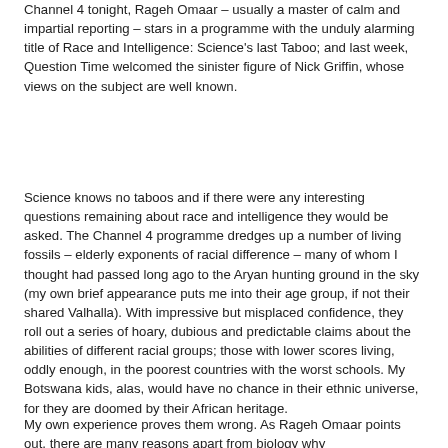Channel 4 tonight, Rageh Omaar – usually a master of calm and impartial reporting – stars in a programme with the unduly alarming title of Race and Intelligence: Science's last Taboo; and last week, Question Time welcomed the sinister figure of Nick Griffin, whose views on the subject are well known.
Science knows no taboos and if there were any interesting questions remaining about race and intelligence they would be asked. The Channel 4 programme dredges up a number of living fossils – elderly exponents of racial difference – many of whom I thought had passed long ago to the Aryan hunting ground in the sky (my own brief appearance puts me into their age group, if not their shared Valhalla). With impressive but misplaced confidence, they roll out a series of hoary, dubious and predictable claims about the abilities of different racial groups; those with lower scores living, oddly enough, in the poorest countries with the worst schools. My Botswana kids, alas, would have no chance in their ethnic universe, for they are doomed by their African heritage.
My own experience proves them wrong. As Rageh Omaar points out, there are many reasons apart from biology why